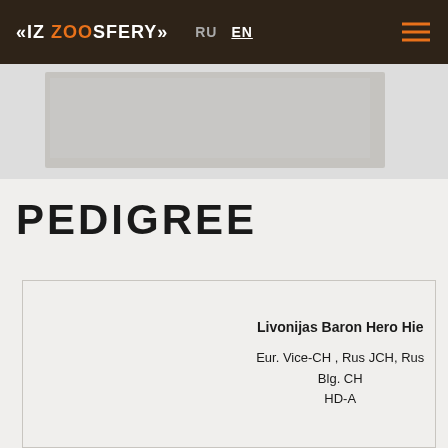«IZ ZOOSFERY» | RU EN
[Figure (photo): Partial photo of a dog visible in the upper portion of the page]
PEDIGREE
|  | Livonijas Baron Hero Hie
Eur. Vice-CH , Rus JCH, Rus Blg. CH
HD-A |